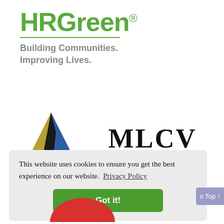[Figure (logo): HRGreen logo with green text 'HRGreen®' and a green horizontal line, followed by tagline 'Building Communities. Improving Lives.' in grey bold text]
[Figure (logo): MLCV Investments logo with a triangle made of gold, black, and blue segments, beside bold serif text 'MLCV' with a line and 'INVESTMENTS' in spaced capitals below]
This website uses cookies to ensure you get the best experience on our website. Privacy Policy
Got it!